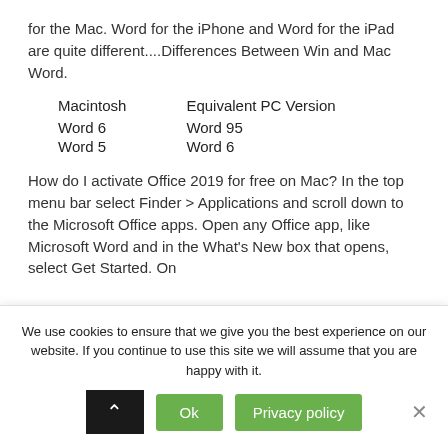for the Mac. Word for the iPhone and Word for the iPad are quite different....Differences Between Win and Mac Word.
| Macintosh | Equivalent PC Version |
| --- | --- |
| Word 6 | Word 95 |
| Word 5 | Word 6 |
How do I activate Office 2019 for free on Mac? In the top menu bar select Finder > Applications and scroll down to the Microsoft Office apps. Open any Office app, like Microsoft Word and in the What's New box that opens, select Get Started. On
We use cookies to ensure that we give you the best experience on our website. If you continue to use this site we will assume that you are happy with it.